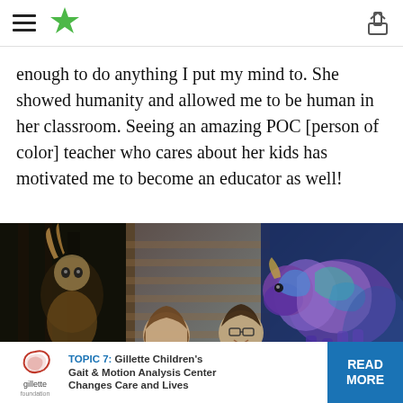Navigation header with hamburger menu, star logo, and share icon
enough to do anything I put my mind to. She showed humanity and allowed me to be human in her classroom. Seeing an amazing POC [person of color] teacher who cares about her kids has motivated me to become an educator as well!
[Figure (photo): Two women smiling in front of colorful murals on a brick wall, one depicting a Native American figure and another depicting a bison in vivid colors]
TOPIC 7: Gillette Children's Gait & Motion Analysis Center Changes Care and Lives  READ MORE